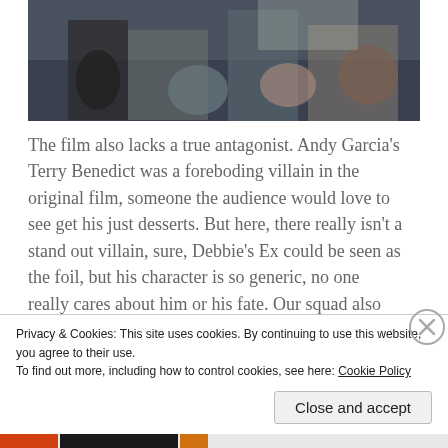[Figure (photo): Group of people sitting and talking in a darkened room, appears to be an interview or panel discussion setting.]
The film also lacks a true antagonist. Andy Garcia's Terry Benedict was a foreboding villain in the original film, someone the audience would love to see get his just desserts. But here, there really isn't a stand out villain, sure, Debbie's Ex could be seen as the foil, but his character is so generic, no one really cares about him or his fate. Our squad also never seem to face any challenges or danger. None of the team really show any nerves or rookie behaviour, considering only Debbie and Lou seem to be the real big time criminals. Any
Advertisements
Privacy & Cookies: This site uses cookies. By continuing to use this website, you agree to their use.
To find out more, including how to control cookies, see here: Cookie Policy
Close and accept